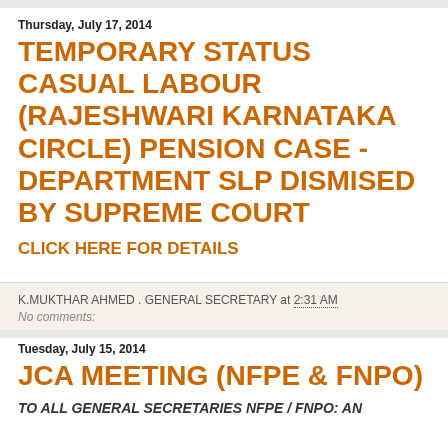Thursday, July 17, 2014
TEMPORARY STATUS CASUAL LABOUR (RAJESHWARI KARNATAKA CIRCLE) PENSION CASE - DEPARTMENT SLP DISMISED BY SUPREME COURT
CLICK HERE FOR DETAILS
K.MUKTHAR AHMED . GENERAL SECRETARY at 2:31 AM
No comments:
Tuesday, July 15, 2014
JCA MEETING (NFPE & FNPO)
TO ALL GENERAL SECRETARIES NFPE / FNPO: AN